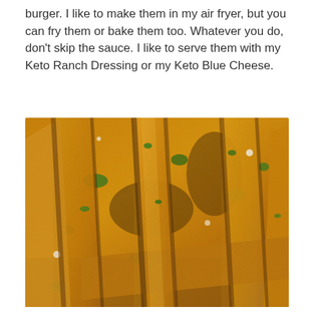burger. I like to make them in my air fryer, but you can fry them or bake them too. Whatever you do, don't skip the sauce. I like to serve them with my Keto Ranch Dressing or my Keto Blue Cheese.
[Figure (photo): Close-up photo of breaded, crispy fried chicken strips or zucchini fries coated in golden breadcrumbs with green herbs (parsley) scattered throughout, piled together.]